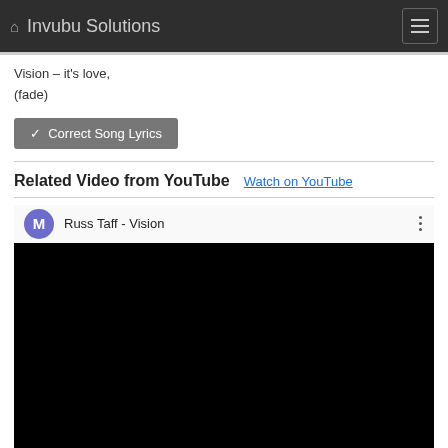Invubu Solutions
Vision – it's love,
(fade)
✓ Correct Song Lyrics
Related Video from YouTube   Watch on YouTube
[Figure (screenshot): YouTube video player thumbnail showing 'Russ Taff - Vision' with a purple avatar circle with letter M, three dots menu icon, and black video area below]